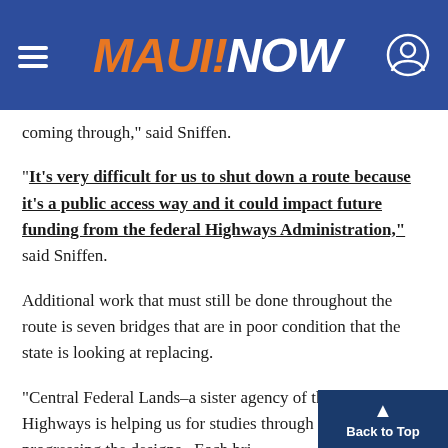MAUI NOW
coming through,” said Sniffen.
“It’s very difficult for us to shut down a route because it’s a public access way and it could impact future funding from the federal Highways Administration,” said Sniffen.
Additional work that must still be done throughout the route is seven bridges that are in poor condition that the state is looking at replacing.
“Central Federal Lands–a sister agency of the Federal Highways is helping us for studies through that and we are progressing the designs.  Each bri… at least $6.5 million. But in order to th…